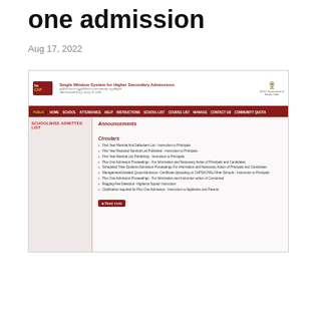one admission
Aug 17, 2022
[Figure (screenshot): Screenshot of HSCAP (Higher Secondary Centralised Admission Process) website - Single Window System for Higher Secondary Admissions, Kerala Government. Shows navigation bar with HOME, SCHOOL, ATTENDANCE, HELP, INSTRUCTIONS, SCHOOL LIST, COURSE LIST, MANAGE, CONTACT US, COMMUNITY QUOTA tabs. Left sidebar shows SCHOOLWISE ADMITTED LIST. Main content shows Announcements and Circulars sections with multiple circular items listed.]